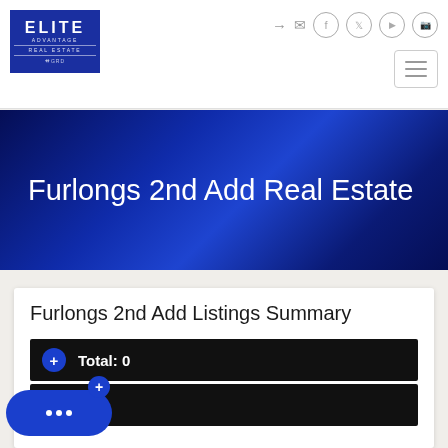[Figure (logo): Elite Advantage Real Estate logo - blue square with white text]
Furlongs 2nd Add Real Estate
Furlongs 2nd Add Listings Summary
Total: 0